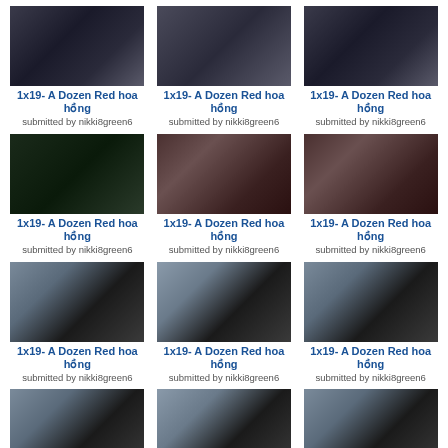[Figure (screenshot): Grid of 12 TV show screenshot thumbnails, each labeled '1x19- A Dozen Red hoa hồng' submitted by nikki8green6]
1x19- A Dozen Red hoa hồng
submitted by nikki8green6
1x19- A Dozen Red hoa hồng
submitted by nikki8green6
1x19- A Dozen Red hoa hồng
submitted by nikki8green6
1x19- A Dozen Red hoa hồng
submitted by nikki8green6
1x19- A Dozen Red hoa hồng
submitted by nikki8green6
1x19- A Dozen Red hoa hồng
submitted by nikki8green6
1x19- A Dozen Red hoa hồng
submitted by nikki8green6
1x19- A Dozen Red hoa hồng
submitted by nikki8green6
1x19- A Dozen Red hoa hồng
submitted by nikki8green6
1x19- A Dozen Red hoa hồng
submitted by nikki8green6
1x19- A Dozen Red hoa hồng
submitted by nikki8green6
1x19- A Dozen Red hoa hồng
submitted by nikki8green6